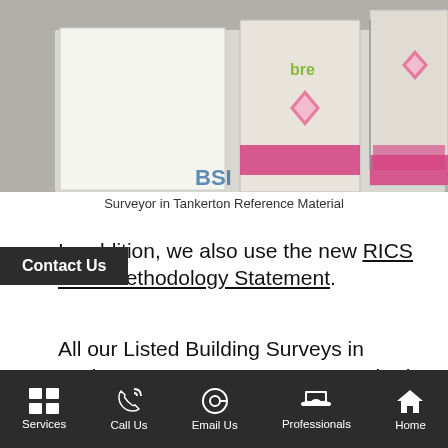[Figure (photo): Photo of surveyor reference material booklets including BSI and BRE publications with pink branding, arranged on a table]
Surveyor in Tankerton Reference Material
In addition, we also use the new RICS Joint Methodology Statement.
All our Listed Building Surveys in Tankerton are Home Survey Standards 2020 (Level 3) surveys only formally the building survey or full structural survey full Level 3 Listed Building Surveys Tankerton
Services | Call Us | Email Us | Professionals | Home